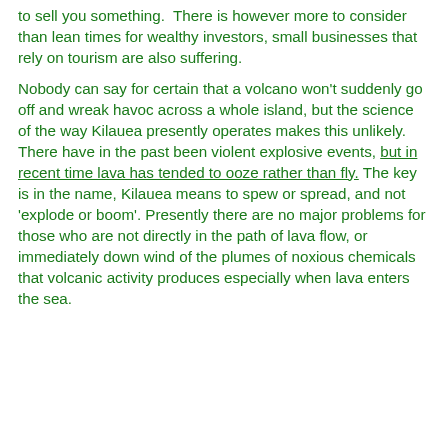to sell you something. There is however more to consider than lean times for wealthy investors, small businesses that rely on tourism are also suffering.
Nobody can say for certain that a volcano won't suddenly go off and wreak havoc across a whole island, but the science of the way Kilauea presently operates makes this unlikely. There have in the past been violent explosive events, but in recent time lava has tended to ooze rather than fly. The key is in the name, Kilauea means to spew or spread, and not 'explode or boom'. Presently there are no major problems for those who are not directly in the path of lava flow, or immediately down wind of the plumes of noxious chemicals that volcanic activity produces especially when lava enters the sea.